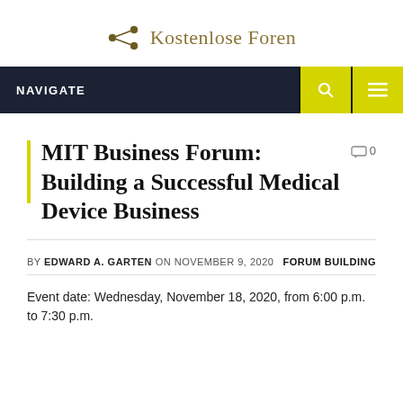[Figure (logo): Kostenlose Foren logo with a golden network/share icon and serif text]
[Figure (screenshot): Navigation bar with dark navy background showing NAVIGATE label and two yellow buttons with search and menu icons]
MIT Business Forum: Building a Successful Medical Device Business
0
BY EDWARD A. GARTEN ON NOVEMBER 9, 2020   FORUM BUILDING
Event date: Wednesday, November 18, 2020, from 6:00 p.m. to 7:30 p.m.